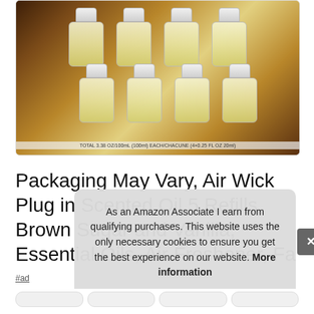[Figure (photo): Air Wick plug-in scented oil refill bottles arranged in two rows — 5 bottles with white caps and pale yellow liquid, set against a brown sugar and vanilla themed background]
Packaging May Vary, Air Wick Plug in Scented Oil 5 Refills, Brown Sugar and Vanilla, Essential Oils, Air Freshener, Fa
#ad
As an Amazon Associate I earn from qualifying purchases. This website uses the only necessary cookies to ensure you get the best experience on our website. More information